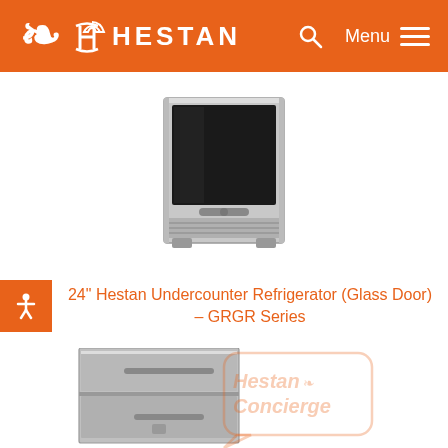HESTAN — Menu
[Figure (photo): Hestan undercounter refrigerator with glass door, stainless steel frame, front ventilation grille, front view]
24" Hestan Undercounter Refrigerator (Glass Door) – GRGR Series
[Figure (photo): Hestan undercounter refrigerator drawer unit, stainless steel, two drawers, front view, with Hestan Concierge watermark overlay]